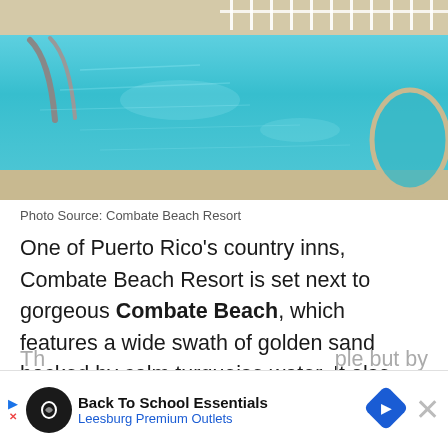[Figure (photo): Outdoor swimming pool with clear turquoise water, metal handrails visible on left side, pool deck/coping around edges, white fence in background at a resort.]
Photo Source: Combate Beach Resort
One of Puerto Rico's country inns, Combate Beach Resort is set next to gorgeous Combate Beach, which features a wide swath of golden sand backed by calm turquoise water. It also offers direct access to the walking trails in Cabo Rojo National Wildlife Refuge on the southwest coast.
The ... ple but by no ... more
[Figure (screenshot): Advertisement banner: Back To School Essentials - Leesburg Premium Outlets, with navigation arrows and close button.]